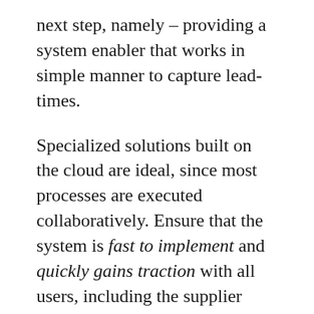next step, namely – providing a system enabler that works in simple manner to capture lead-times.
Specialized solutions built on the cloud are ideal, since most processes are executed collaboratively. Ensure that the system is fast to implement and quickly gains traction with all users, including the supplier users. A “large, ERP mindset” (‘small army’ of people, ‘large’ implementation centered) and ‘hit-and-miss’ post implementation stabilization and usage, is a sure shot to an expensive